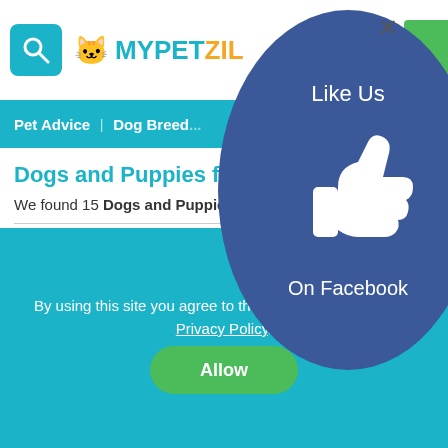MYPETZIL
Pet Advice | Dog Breeds
Dogs and Puppies for sa...
We found 15 Dogs and Puppies fo...
Create Search
[Figure (illustration): Facebook Like Us overlay — dark blue oval with thumbs-up icon, text 'Like Us' and 'On Facebook']
By using this site you agree to the use of cookies and our Privacy Policy.
Allow